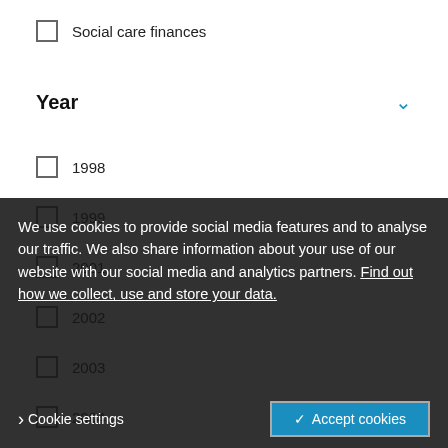Social care finances
Year
1998
1999
2001
2002
2003
2004
2005
2006
2007
2008
2011
We use cookies to provide social media features and to analyse our traffic. We also share information about your use of our website with our social media and analytics partners. Find out how we collect, use and store your data.